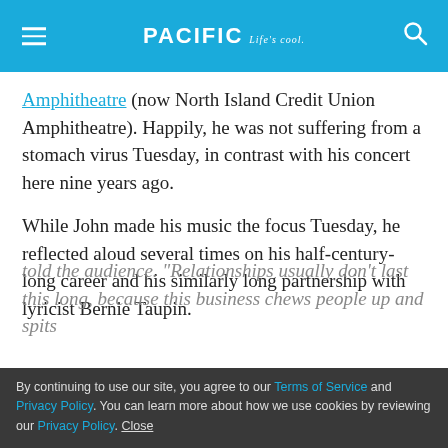PACIFIC Life's cool.
Amphitheatre (now North Island Credit Union Amphitheatre). Happily, he was not suffering from a stomach virus Tuesday, in contrast with his concert here nine years ago.
While John made his music the focus Tuesday, he reflected aloud several times on his half-century-long career and his similarly long partnership with lyricist Bernie Taupin.
By continuing to use our site, you agree to our Terms of Service and Privacy Policy. You can learn more about how we use cookies by reviewing our Privacy Policy. Close
told the audience. "Relationships usually don't last this long, because this business chews people up and spits